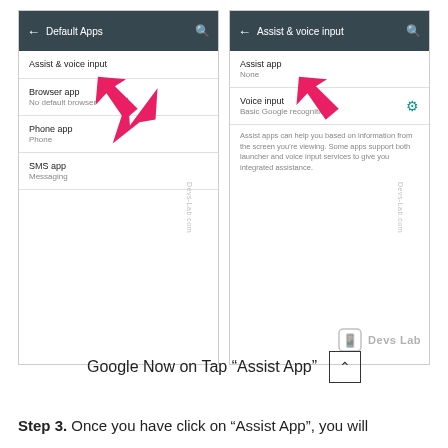[Figure (screenshot): Two side-by-side Android screenshots: left shows 'Default Apps' settings menu with items Assist & voice input, Browser app, Phone app, SMS app; right shows 'Assist & voice input' settings with Assist app (None) and Voice input (Basic Google recognition), plus descriptive text. Both screenshots have red arrows pointing to 'Assist & voice input' on the left and 'Assist app' on the right. Devs-Lab.com watermark visible on both.]
Google Now on Tap “Assist App”
Step 3. Once you have click on “Assist App”, you will